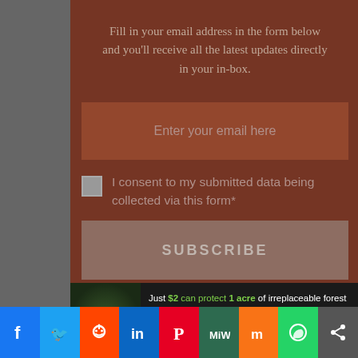Fill in your email address in the form below and you'll receive all the latest updates directly in your in-box.
Enter your email here
I consent to my submitted data being collected via this form*
SUBSCRIBE
By signing up, you agree to our privacy policy, and European users agree to the data transfer policy. You can
[Figure (infographic): Advertisement banner: Just $2 can protect 1 acre of irreplaceable forest homes in the Amazon. How many acres are you willing to protect? PROTECT FORESTS NOW]
[Figure (infographic): Social sharing bar with icons: Facebook, Twitter, Reddit, LinkedIn, Pinterest, MeWe, Mix, WhatsApp, Share]